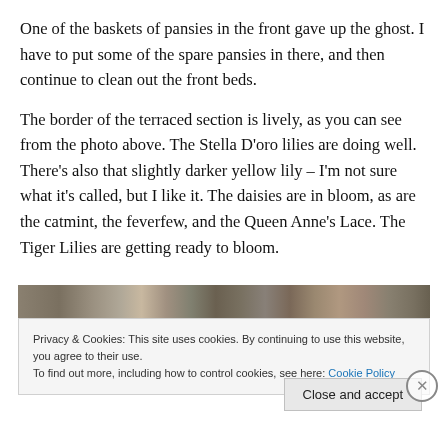One of the baskets of pansies in the front gave up the ghost. I have to put some of the spare pansies in there, and then continue to clean out the front beds.
The border of the terraced section is lively, as you can see from the photo above. The Stella D'oro lilies are doing well. There’s also that slightly darker yellow lily – I’m not sure what it’s called, but I like it. The daisies are in bloom, as are the catmint, the feverfew, and the Queen Anne’s Lace. The Tiger Lilies are getting ready to bloom.
[Figure (photo): A partial photo strip showing a garden scene with vertical elements, blurred/cropped.]
Privacy & Cookies: This site uses cookies. By continuing to use this website, you agree to their use.
To find out more, including how to control cookies, see here: Cookie Policy